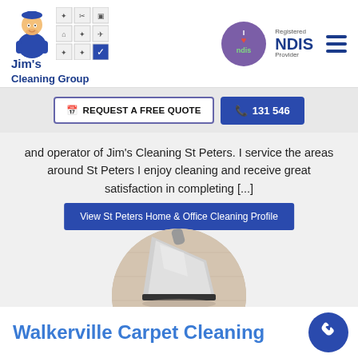Jim's Cleaning Group | Registered NDIS Provider
REQUEST A FREE QUOTE  131 546
and operator of Jim's Cleaning St Peters. I service the areas around St Peters I enjoy cleaning and receive great satisfaction in completing [...]
View St Peters Home & Office Cleaning Profile
[Figure (photo): Circular photo of a carpet cleaning machine nozzle on beige carpet]
Walkerville Carpet Cleaning